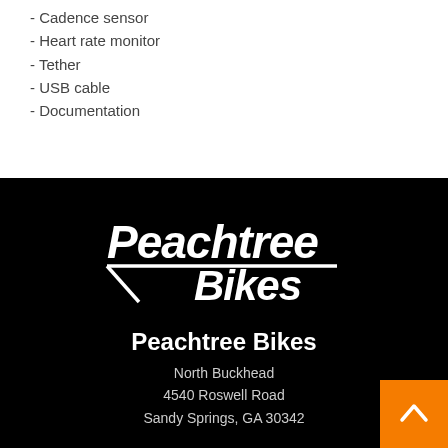- Cadence sensor
- Heart rate monitor
- Tether
- USB cable
- Documentation
[Figure (logo): Peachtree Bikes logo in white on black background, stylized text with underline]
Peachtree Bikes
North Buckhead
4540 Roswell Road
Sandy Springs, GA 30342